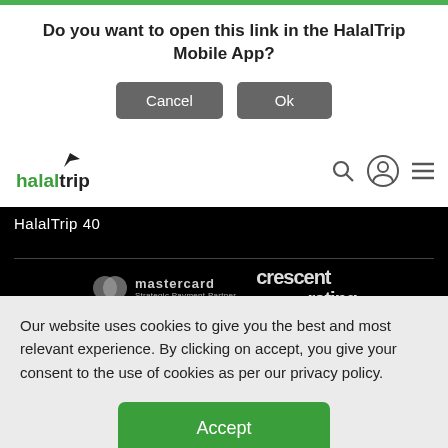Do you want to open this link in the HalalTrip Mobile App?
Cancel
Ok
[Figure (logo): HalalTrip logo with plane icon and green/black text]
HalalTrip 40
[Figure (logo): Mastercard logo - Strategic Payment Partner]
[Figure (logo): Crescent Rating logo]
[Figure (infographic): Row of social media icons: Facebook, Twitter, Pinterest, YouTube, LinkedIn, Instagram, Snapchat]
Our website uses cookies to give you the best and most relevant experience. By clicking on accept, you give your consent to the use of cookies as per our privacy policy.
Accept